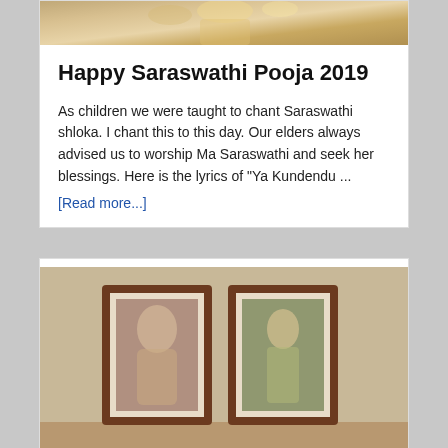[Figure (photo): Top portion of a religious painting showing a deity figure, partially visible at top of first card]
Happy Saraswathi Pooja 2019
As children we were taught to chant Saraswathi shloka. I chant this to this day. Our elders always advised us to worship Ma Saraswathi and seek her blessings. Here is the lyrics of "Ya Kundendu ...
[Read more...]
[Figure (photo): Two framed portrait photographs in wooden frames placed side by side on a surface. Left frame shows a person in formal attire, right frame shows a standing figure.]